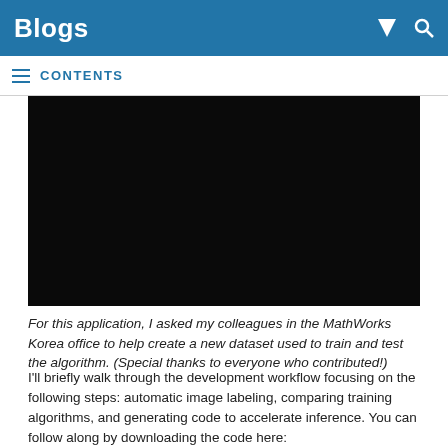Blogs
CONTENTS
[Figure (photo): Black rectangular video or image block, content not visible]
For this application, I asked my colleagues in the MathWorks Korea office to help create a new dataset used to train and test the algorithm. (Special thanks to everyone who contributed!)
I'll briefly walk through the development workflow focusing on the following steps: automatic image labeling, comparing training algorithms, and generating code to accelerate inference. You can follow along by downloading the code here: https://github.com/matlab-deep-learning/COVID19-Face-Mask-